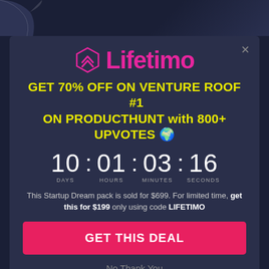[Figure (logo): Lifetimo logo with diamond/chevron icon in magenta/pink and text 'Lifetimo' in bold pink]
GET 70% OFF ON VENTURE ROOF #1 ON PRODUCTHUNT with 800+ UPVOTES 🔥
10 : 01 : 03 : 16 DAYS HOURS MINUTES SECONDS
This Startup Dream pack is sold for $699. For limited time, get this for $199 only using code LIFETIMO
GET THIS DEAL
No Thank You